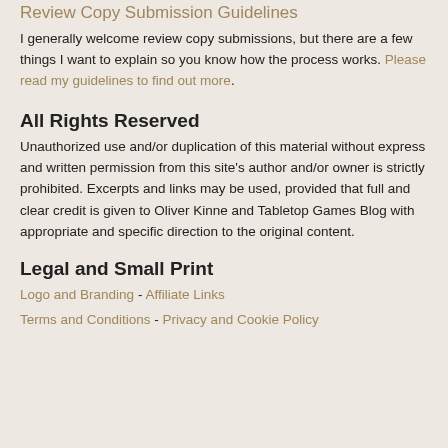Review Copy Submission Guidelines
I generally welcome review copy submissions, but there are a few things I want to explain so you know how the process works. Please read my guidelines to find out more.
All Rights Reserved
Unauthorized use and/or duplication of this material without express and written permission from this site's author and/or owner is strictly prohibited. Excerpts and links may be used, provided that full and clear credit is given to Oliver Kinne and Tabletop Games Blog with appropriate and specific direction to the original content.
Legal and Small Print
Logo and Branding - Affiliate Links
Terms and Conditions - Privacy and Cookie Policy